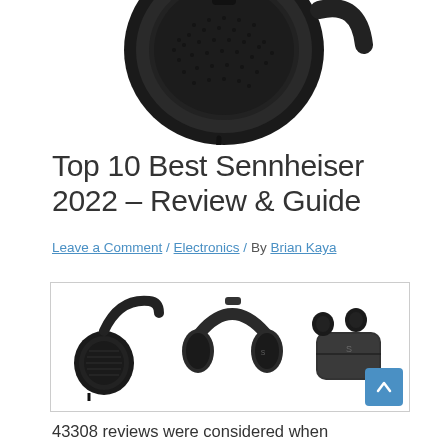[Figure (photo): Top portion of a black Sennheiser over-ear headphone showing the ear cup and cable from above, cropped at top of page]
Top 10 Best Sennheiser 2022 – Review & Guide
Leave a Comment / Electronics / By Brian Kaya
[Figure (photo): Three Sennheiser products side by side: open-back wired headphones (left), over-ear wireless headphones (center), and true wireless earbuds with charging case (right)]
43308 reviews were considered when